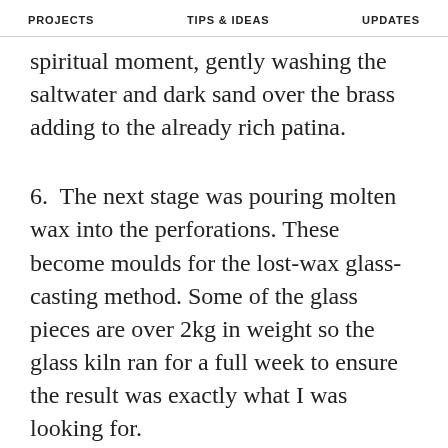PROJECTS   TIPS & IDEAS   UPDATES
spiritual moment, gently washing the saltwater and dark sand over the brass adding to the already rich patina.
6. The next stage was pouring molten wax into the perforations. These become moulds for the lost-wax glass-casting method. Some of the glass pieces are over 2kg in weight so the glass kiln ran for a full week to ensure the result was exactly what I was looking for.
7. The final stage was adding the LED light. Differing amounts of light were added and